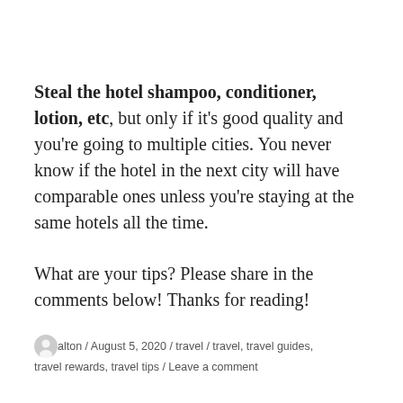Steal the hotel shampoo, conditioner, lotion, etc, but only if it's good quality and you're going to multiple cities. You never know if the hotel in the next city will have comparable ones unless you're staying at the same hotels all the time.
What are your tips? Please share in the comments below! Thanks for reading!
alton / August 5, 2020 / travel / travel, travel guides, travel rewards, travel tips / Leave a comment